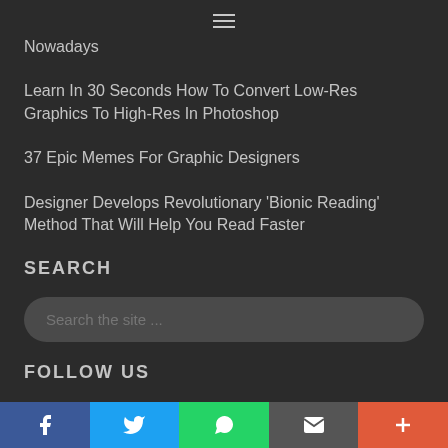☰
Nowadays
Learn In 30 Seconds How To Convert Low-Res Graphics To High-Res In Photoshop
37 Epic Memes For Graphic Designers
Designer Develops Revolutionary 'Bionic Reading' Method That Will Help You Read Faster
SEARCH
Search the site ...
FOLLOW US
f  🐦  WhatsApp  Email  +